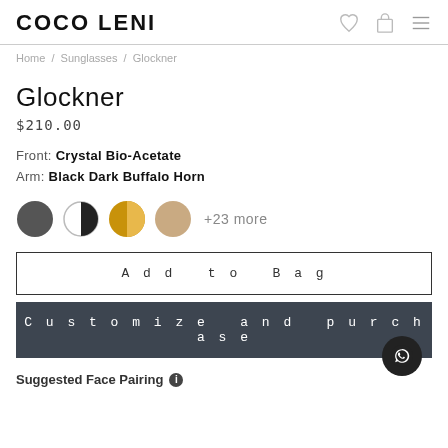COCO LENI
Home / Sunglasses / Glockner
Glockner
$210.00
Front: Crystal Bio-Acetate
Arm: Black Dark Buffalo Horn
[Figure (illustration): Four color swatches (dark grey, black/white split, gold/amber, tan/beige) followed by '+23 more' text]
Add to Bag
Customize and purchase
Suggested Face Pairing ℹ